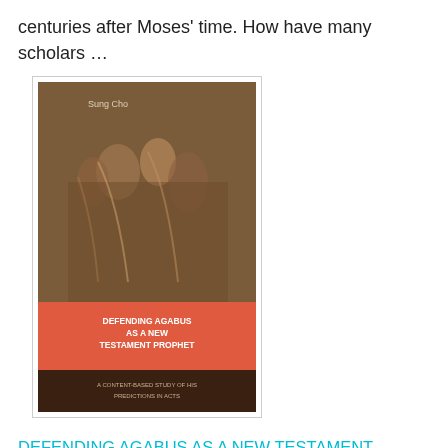centuries after Moses' time. How have many scholars …
[Figure (photo): Book cover of 'Defending Agabus as a New Testament Prophet: A Content-Based Study of His Predictions In Acts by Sung Cho'. Cover shows a classical painting of robed figures at the top, a red banner with the title text, and subtitle text at the bottom, on a dark brown/maroon background.]
DEFENDING AGABUS AS A NEW TESTAMENT PROPHET: A Content-Based Study of His Predictions In Acts by Sung Cho
Agabus is a mysterious prophetic figure that appears only twice in the book of Acts. Though his role is minor, he is a significant figure in a great debate between cessationists and continualists. On